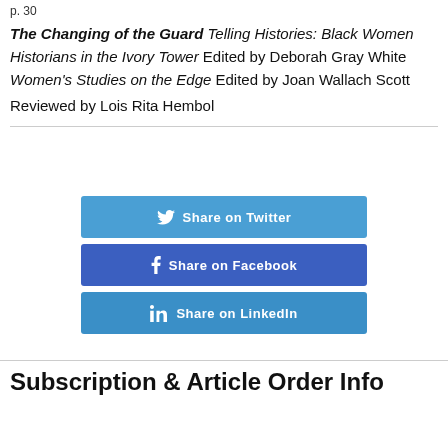p. 30
The Changing of the Guard Telling Histories: Black Women Historians in the Ivory Tower Edited by Deborah Gray White Women's Studies on the Edge Edited by Joan Wallach Scott
Reviewed by Lois Rita Hembol
[Figure (infographic): Three social share buttons: Share on Twitter (blue), Share on Facebook (dark blue), Share on LinkedIn (teal blue)]
Subscription & Article Order Info